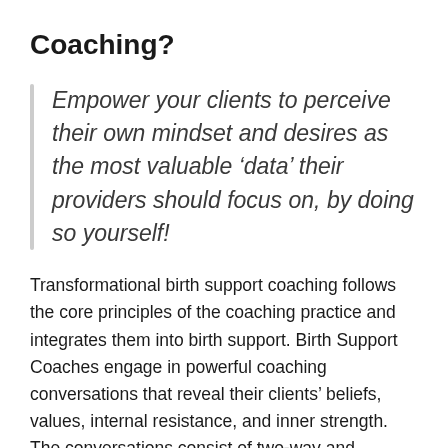Coaching?
Empower your clients to perceive their own mindset and desires as the most valuable ‘data’ their providers should focus on, by doing so yourself!
Transformational birth support coaching follows the core principles of the coaching practice and integrates them into birth support. Birth Support Coaches engage in powerful coaching conversations that reveal their clients’ beliefs, values, internal resistance, and inner strength. The conversations consist of two-way and